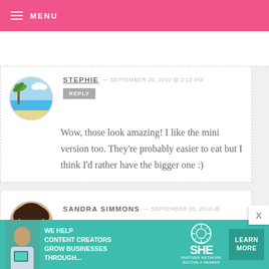MENU
STEPHIE — SEPTEMBER 20, 2010 @ 2:12 PM
REPLY
Wow, those look amazing! I like the mini version too. They're probably easier to eat but I think I'd rather have the bigger one :)
SANDRA SIMMONS — SEPTEMBER 20, 2010 @
[Figure (screenshot): Advertisement banner: SHE partner network - We help content creators grow businesses through... Learn More]